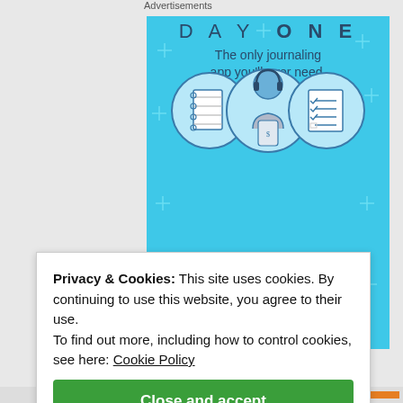Advertisements
[Figure (illustration): Day One journaling app advertisement on a sky-blue background. Shows three circular icons (notebook, person with headphones holding phone, checklist), the app name 'DAY ONE' in bold spaced letters, tagline 'The only journaling app you'll ever need.', and a dark blue 'Get the app' button. Sparkle/plus decorations scattered in the background.]
Privacy & Cookies: This site uses cookies. By continuing to use this website, you agree to their use.
To find out more, including how to control cookies, see here: Cookie Policy
Close and accept